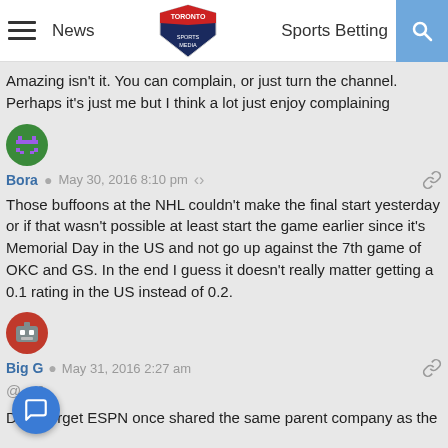News | Toronto Sports Media | Sports Betting
Amazing isn't it. You can complain, or just turn the channel. Perhaps it's just me but I think a lot just enjoy complaining
Bora  May 30, 2016 8:10 pm
Those buffoons at the NHL couldn't make the final start yesterday or if that wasn't possible at least start the game earlier since it's Memorial Day in the US and not go up against the 7th game of OKC and GS. In the end I guess it doesn't really matter getting a 0.1 rating in the US instead of 0.2.
Big G  May 31, 2016 2:27 am
@...J
Don't forget ESPN once shared the same parent company as the